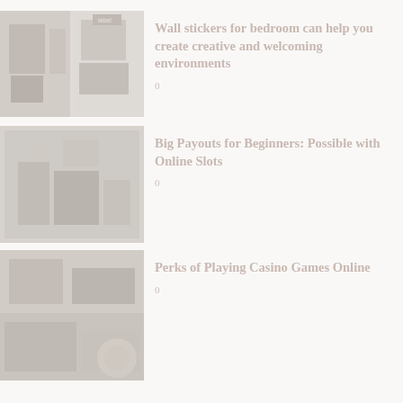[Figure (photo): Two small thumbnail images side by side showing bedroom/interior decor]
Wall stickers for bedroom can help you create creative and welcoming environments
0
[Figure (photo): Image of a person at a casino slot machine or gaming area]
Big Payouts for Beginners: Possible with Online Slots
0
[Figure (photo): Image related to casino games online]
Perks of Playing Casino Games Online
0